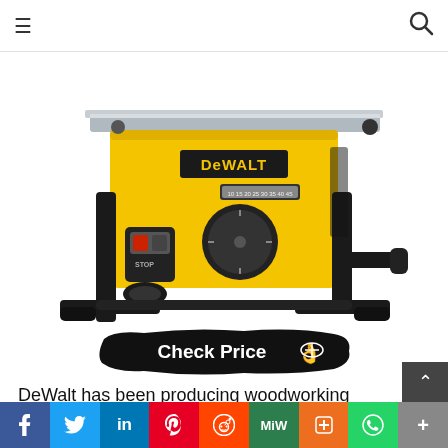≡  [search icon]
[Figure (photo): DeWalt yellow and black table saw with portable stand, black frame, red and black controls, on white background]
[Figure (other): Black brush-stroke button with white text 'Check Price' and a hand pointer icon]
DeWalt has been producing woodworking machines since 1924, when it was founded in Leola, Pennsylvania. The company was purchased by American Machine & Foundry Co., Inc. in 1949
f  [Twitter]  in  [Pinterest]  [Reddit]  MiW  [Mix]  [WhatsApp]  +